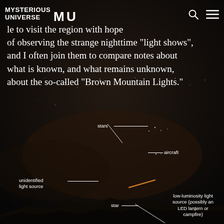MYSTERIOUS UNIVERSE
le to visit the region with hope of observing the strange nighttime "light shows", and I often join them to compare notes about what is known, and what remains unknown, about the so-called "Brown Mountain Lights."
[Figure (photo): Night sky photograph showing annotated lights over a dark mountain silhouette. Labels identify: stars, aircraft, unidentified light source (an orange streak), star, and low-luminosity light source (possibly an LED lantern or campfire).]